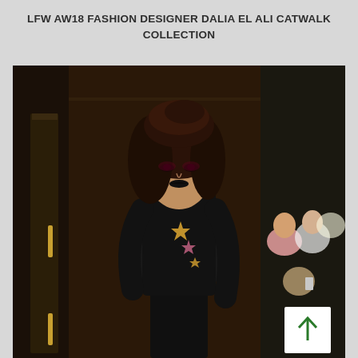LFW AW18 FASHION DESIGNER DALIA EL ALI CATWALK COLLECTION
[Figure (photo): A fashion model walking the catwalk at the LFW AW18 show for designer Dalia El Ali. The model has long brunette hair, dramatic dark makeup including black lipstick and smoky eyes, and wears a black turtleneck top with star embellishments, a black blazer, and black trousers. The venue appears to be an ornate hall. Audience members are visible seated on the right side.]